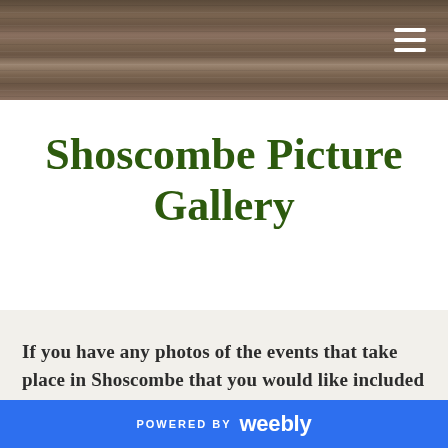[Figure (photo): Wood texture header bar with hamburger menu icon in top right corner]
Shoscombe Picture Gallery
If you have any photos of the events that take place in Shoscombe that you would like included on this page, please send them to us via the link below.  If you want to supply the photographer's name and a caption for the pictures, please feel free to do so. We are
POWERED BY weebly